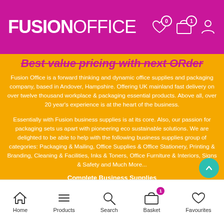FUSION OFFICE
Best value pricing with next ORder
Fusion Office is a forward thinking and dynamic office supplies and packaging company, based in Andover, Hampshire. Offering UK mainland fast delivery on over twelve thousand workplace & packaging essential products. Above all, over 20 year's experience is at the heart of the business.
Essentially with Fusion business supplies is at its core. Also, our passion for packaging sets us apart with pioneering eco sustainable solutions. We are delighted to be able to help with the following business supplies group of categories: Packaging & Mailing, Office Supplies & Office Stationery, Printing & Branding, Cleaning & Facilities, Inks & Toners, Office Furniture & Interiors, Signs & Safety and Much More...
Complete Business Supplies
In conclusion, Fusion Office offers everything for your workplace at
Home  Products  Search  Basket  Favourites